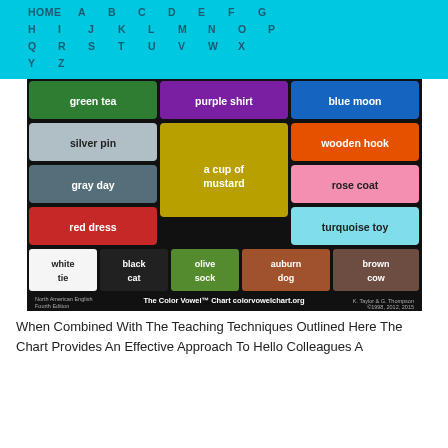HOME A B C D E F G H I J K L M N O P Q R S T U V W X Y Z
[Figure (infographic): The Color Vowel Chart showing color-word pairs grouped by vowel sound in a circular/pie layout: green tea, purple shirt, blue moon, silver pin, wooden hook, gray day, a cup of mustard, rose coat, red dress, turquoise toy, white tie, black cat, olive sock, auburn dog, brown cow. Title: The Color Vowel Chart, colorvowelchart.org. K. Taylor & G. Thompson, 1998, 2012, 2015.]
When Combined With The Teaching Techniques Outlined Here The Chart Provides An Effective Approach To Hello Colleagues A